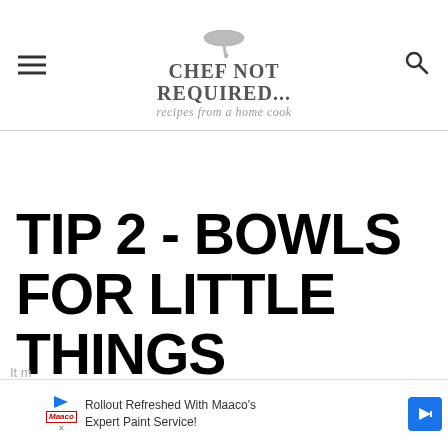CHEF NOT REQUIRED... recipes from a home cook
TIP 2 - BOWLS FOR LITTLE THINGS
It m
[Figure (other): Advertisement banner: Rollout Refreshed With Maaco's Expert Paint Service!]